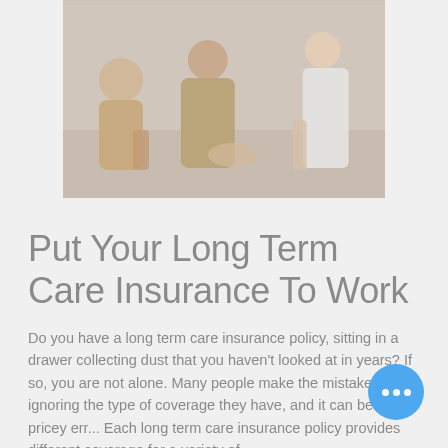[Figure (photo): Photo of elderly people seated in a group setting with a healthcare worker or advisor, appearing to review documents together]
Put Your Long Term Care Insurance To Work
Do you have a long term care insurance policy, sitting in a drawer collecting dust that you haven't looked at in years? If so, you are not alone. Many people make the mistake of ignoring the type of coverage they have, and it can be a pricey err... Each long term care insurance policy provides different coverage for a variety of